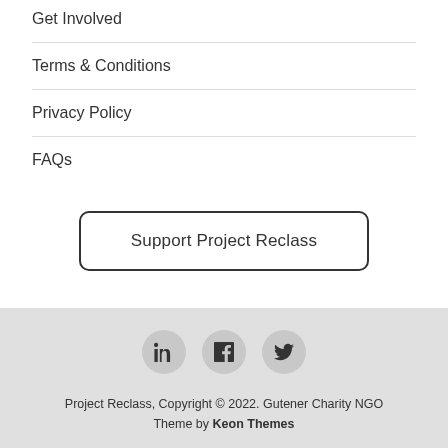Get Involved
Terms & Conditions
Privacy Policy
FAQs
Support Project Reclass
[Figure (other): Social media icons: LinkedIn, Facebook, Twitter in circular grey buttons]
Project Reclass, Copyright © 2022. Gutener Charity NGO Theme by Keon Themes